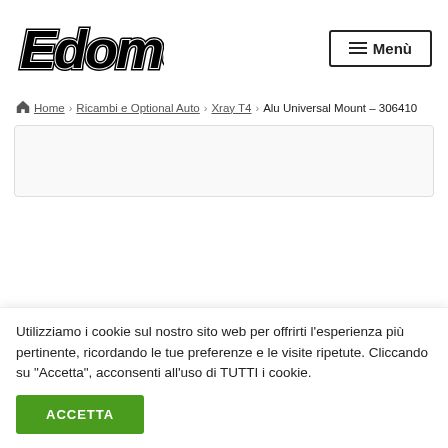[Figure (logo): Edomodel stylized logo in bold italic black outlined font]
≡ Menù
🏠 Home › Ricambi e Optional Auto › Xray T4 › Alu Universal Mount – 306410
[Figure (other): Product image placeholder box]
Utilizziamo i cookie sul nostro sito web per offrirti l'esperienza più pertinente, ricordando le tue preferenze e le visite ripetute. Cliccando su "Accetta", acconsenti all'uso di TUTTI i cookie.
ACCETTA